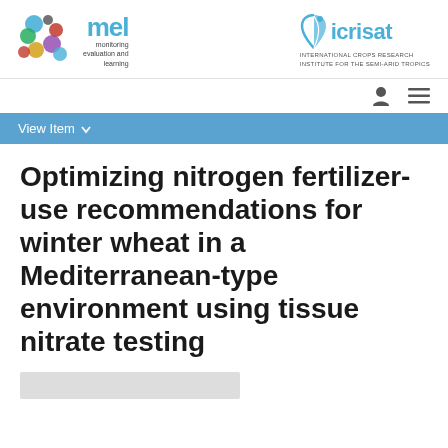[Figure (logo): MEL (monitoring evaluation and learning) logo with colorful overlapping circles and blue MEL text]
[Figure (logo): ICRISAT logo with leaf/wheat icon and text: INTERNATIONAL CROPS RESEARCH INSTITUTE FOR THE SEMI-ARID TROPICS]
[Figure (other): Navigation bar with user icon and hamburger menu icon]
[Figure (other): Blue navigation bar with View Item dropdown]
Optimizing nitrogen fertilizer-use recommendations for winter wheat in a Mediterranean-type environment using tissue nitrate testing